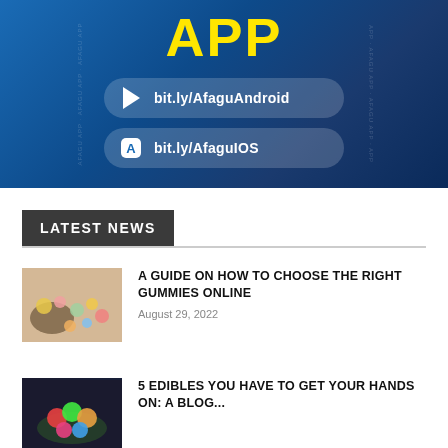[Figure (infographic): App advertisement banner with dark blue gradient background, yellow 'APP' text, and two download buttons: 'bit.ly/AfaguAndroid' and 'bit.ly/AfaguIOS'. Watermark text 'AFAGU APP' visible on sides.]
LATEST NEWS
[Figure (photo): Photo of cannabis gummies and marijuana buds on a light surface]
A GUIDE ON HOW TO CHOOSE THE RIGHT GUMMIES ONLINE
August 29, 2022
[Figure (photo): Photo of colorful gummy edibles on a dark background]
5 EDIBLES YOU HAVE TO GET YOUR HANDS ON: A BLOG...